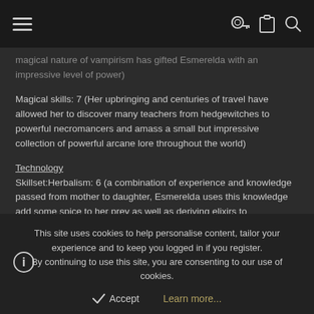Navigation bar with hamburger menu, key icon, clipboard icon, search icon
magical nature of vampirism has gifted Esmerelda with an impressive level of power)
Magical skills: 7 (Her upbringing and centuries of travel have allowed her to discover many teachers from hedgewitches to powerful necromancers and amass a small but impressive collection of powerful arcane lore throughout the world)
Technology
Skillset:Herbalism: 6 (a combination of experience and knowledge passed from mother to daughter, Esmerelda uses this knowledge add some spice to her prey as well as deriving elixirs to incapacitate them)
Skillset: Mistress of the Silver Tongue: 8 (Having had to conceal her
This site uses cookies to help personalise content, tailor your experience and to keep you logged in if you register.
By continuing to use this site, you are consenting to our use of cookies.
Accept   Learn more...